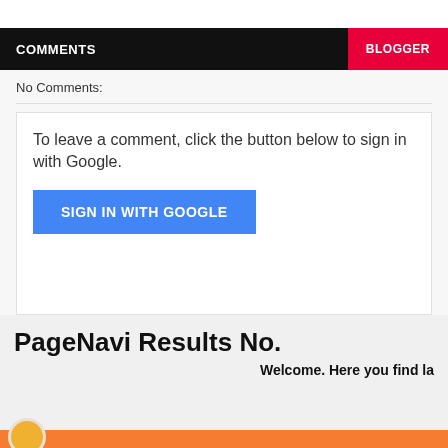COMMENTS BLOGGER
No Comments:
To leave a comment, click the button below to sign in with Google.
SIGN IN WITH GOOGLE
PageNavi Results No.
Welcome. Here you find la